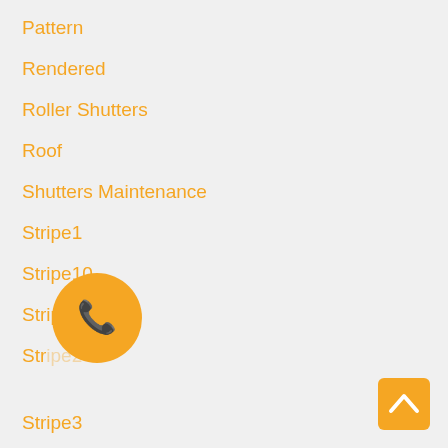Pattern
Rendered
Roller Shutters
Roof
Shutters Maintenance
Stripe1
Stripe10
Stripe11
Stripe2
Stripe3
Stripe4
Stripe5
Stripe6